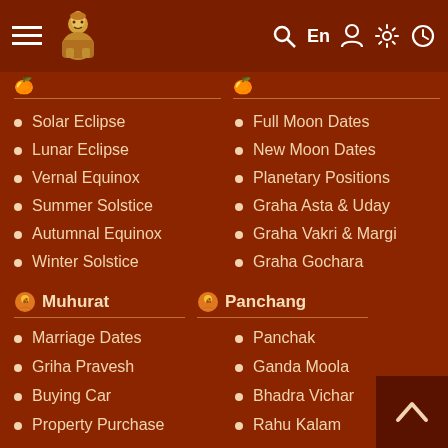Navigation bar with menu, logo, search, En, user, settings, clock icons
Solar Eclipse
Full Moon Dates
Lunar Eclipse
New Moon Dates
Vernal Equinox
Planetary Positions
Summer Solstice
Graha Asta & Uday
Autumnal Equinox
Graha Vakri & Margi
Winter Solstice
Graha Gochara
Muhurat
Panchang
Marriage Dates
Panchak
Griha Pravesh
Ganda Moola
Buying Car
Bhadra Vichar
Property Purchase
Rahu Kalam